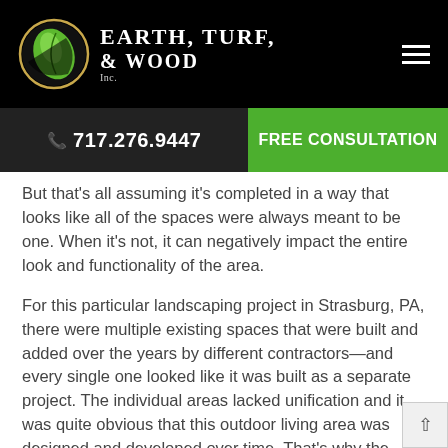[Figure (logo): Earth, Turf & Wood Inc. logo — circular green leaf emblem with gold ring, white text on black header bar, with hamburger menu icon on the right]
📞 717.276.9447   FREE CONSULTATION
But that's all assuming it's completed in a way that looks like all of the spaces were always meant to be one. When it's not, it can negatively impact the entire look and functionality of the area.
For this particular landscaping project in Strasburg, PA, there were multiple existing spaces that were built and added over the years by different contractors—and every single one looked like it was built as a separate project. The individual areas lacked unification and it was quite obvious that this outdoor living area was designed and developed over time. That's why the family was looking to redo all of the individual zones to make it look